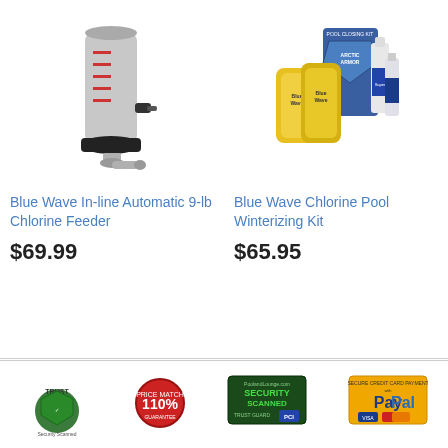[Figure (photo): Blue Wave In-line Automatic 9-lb Chlorine Feeder product image - a grey and black cylindrical pool chlorine feeder device]
Blue Wave In-line Automatic 9-lb Chlorine Feeder
$69.99
[Figure (photo): Blue Wave Chlorine Pool Winterizing Kit product image - yellow bags and blue Arctic Armor box and chemical bottles]
Blue Wave Chlorine Pool Winterizing Kit
$65.95
[Figure (infographic): Footer security badges: Trust Guard Security Scanned, 110% Price Match, PoolandLounge.com Security Scanned Trust Guard PCI, Secure Credit Card Payment with PayPal, McAfee logo]